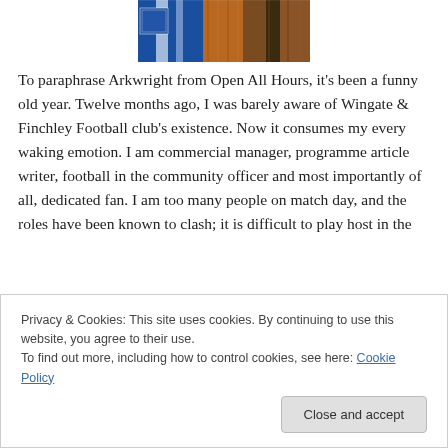[Figure (photo): Photo of blue and orange football scarves/flags bundled together]
To paraphrase Arkwright from Open All Hours, it's been a funny old year. Twelve months ago, I was barely aware of Wingate & Finchley Football club's existence. Now it consumes my every waking emotion. I am commercial manager, programme article writer, football in the community officer and most importantly of all, dedicated fan. I am too many people on match day, and the roles have been known to clash; it is difficult to play host in the
Privacy & Cookies: This site uses cookies. By continuing to use this website, you agree to their use.
To find out more, including how to control cookies, see here: Cookie Policy